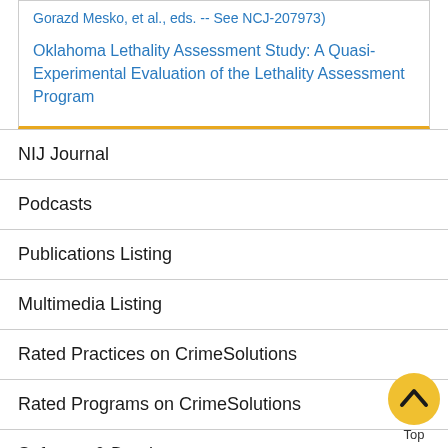Gorazd Mesko, et al., eds. -- See NCJ-207973)
Oklahoma Lethality Assessment Study: A Quasi-Experimental Evaluation of the Lethality Assessment Program
NIJ Journal
Podcasts
Publications Listing
Multimedia Listing
Rated Practices on CrimeSolutions
Rated Programs on CrimeSolutions
Software & Databases